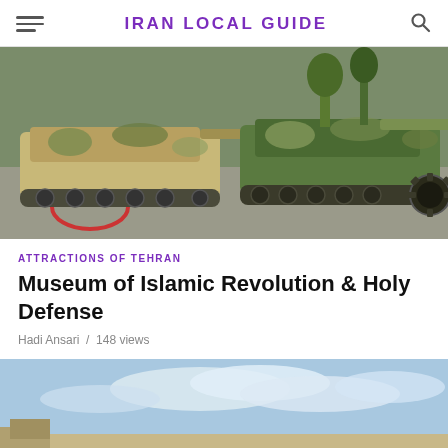IRAN LOCAL GUIDE
[Figure (photo): Row of camouflaged military tanks parked on a road, photographed from ground level. Tanks display green and tan camouflage patterns.]
ATTRACTIONS OF TEHRAN
Museum of Islamic Revolution & Holy Defense
Hadi Ansari / 148 views
[Figure (photo): Partial view of an outdoor area with blue sky and clouds, likely showing the exterior grounds of the museum.]